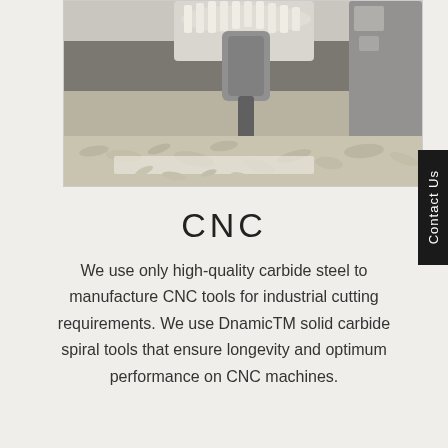[Figure (photo): CNC milling machine cutting material, with wood shavings/chips visible on a flat surface. The machine spindle with a cutter tool is visible from above, mid-operation.]
CNC
We use only high-quality carbide steel to manufacture CNC tools for industrial cutting requirements. We use DnamicTM solid carbide spiral tools that ensure longevity and optimum performance on CNC machines.